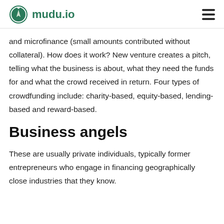mudu.io
and microfinance (small amounts contributed without collateral). How does it work? New venture creates a pitch, telling what the business is about, what they need the funds for and what the crowd received in return. Four types of crowdfunding include: charity-based, equity-based, lending-based and reward-based.
Business angels
These are usually private individuals, typically former entrepreneurs who engage in financing geographically close industries that they know. They also contribute ROI returns when investing.